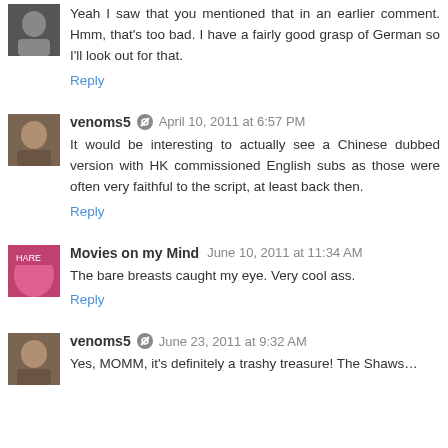Yeah I saw that you mentioned that in an earlier comment. Hmm, that's too bad. I have a fairly good grasp of German so I'll look out for that.
Reply
venoms5  April 10, 2011 at 6:57 PM
It would be interesting to actually see a Chinese dubbed version with HK commissioned English subs as those were often very faithful to the script, at least back then.
Reply
Movies on my Mind  June 10, 2011 at 11:34 AM
The bare breasts caught my eye. Very cool ass.
Reply
venoms5  June 23, 2011 at 9:32 AM
Yes, MOMM, it's definitely a trashy treasure! The Shaws...